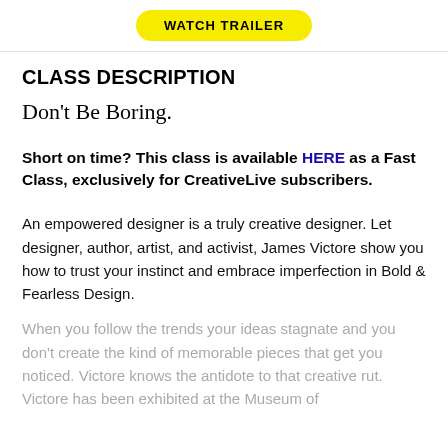WATCH TRAILER
CLASS DESCRIPTION
Don't Be Boring.
Short on time? This class is available HERE as a Fast Class, exclusively for CreativeLive subscribers.
An empowered designer is a truly creative designer. Let designer, author, artist, and activist, James Victore show you how to trust your instinct and embrace imperfection in Bold & Fearless Design.
When you follow the trends your ideas stagnate and you don't create the kind of memorable pieces that get you noticed. Victore knows the antidote to that creative rut. Victore has been exhibited at the Museum of